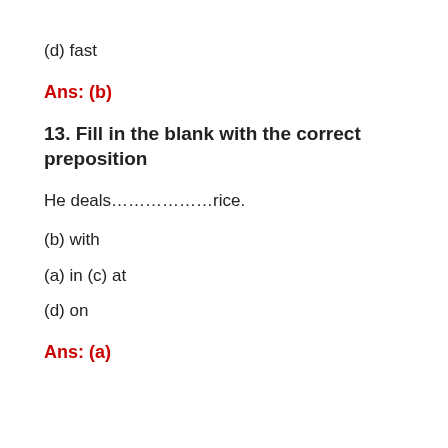(d) fast
Ans: (b)
13. Fill in the blank with the correct preposition
He deals………………rice.
(b) with
(a) in (c) at
(d) on
Ans: (a)